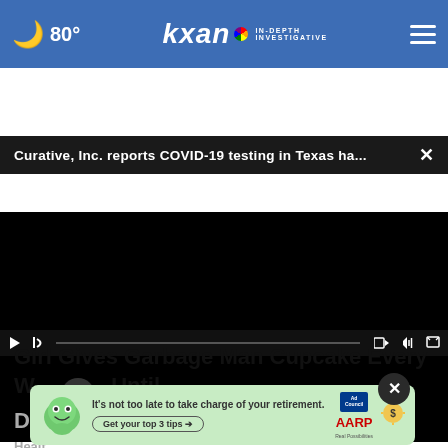🌙 80° | KXAN IN-DEPTH INVESTIGATIVE
Curative, Inc. reports COVID-19 testing in Texas ha... ✕
[Figure (screenshot): Black video player area with playback controls at bottom]
Girl Gives Garbage Man Cupcake Every Week Until Dad Follows Him and Sees Why
Healt...
[Figure (other): AARP ad with green mascot character - It's not too late to take charge of your retirement. Get your top 3 tips. Ad Council AARP Real Possibilities.]